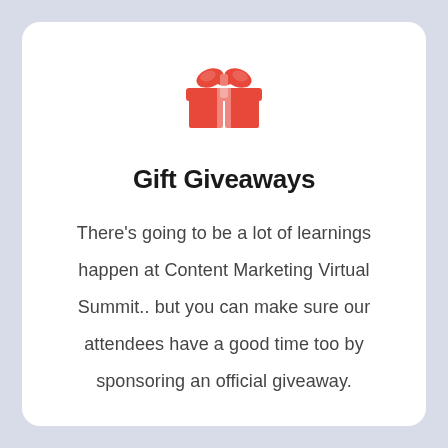[Figure (illustration): Red gift box icon with ribbon and bow on top]
Gift Giveaways
There's going to be a lot of learnings happen at Content Marketing Virtual Summit.. but you can make sure our attendees have a good time too by sponsoring an official giveaway.